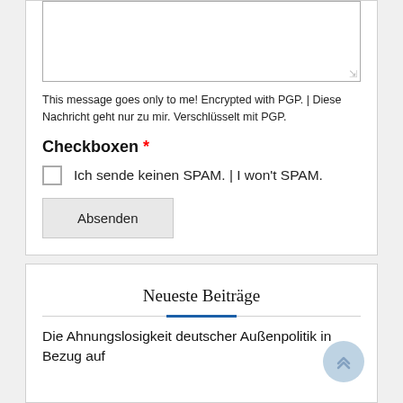This message goes only to me! Encrypted with PGP. | Diese Nachricht geht nur zu mir. Verschlüsselt mit PGP.
Checkboxen *
Ich sende keinen SPAM. | I won't SPAM.
Absenden
Neueste Beiträge
Die Ahnungslosigkeit deutscher Außenpolitik in Bezug auf